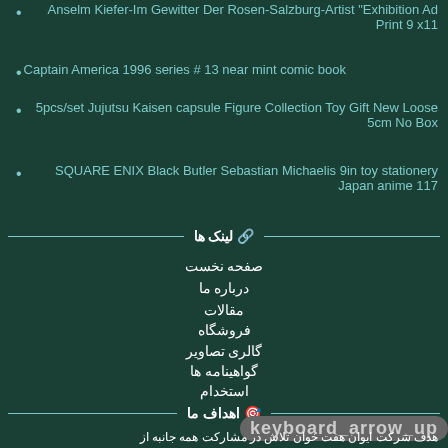Anselm Kiefer-Im Gewitter Der Rosen-Salzburg-Artist "Exhibition Ad Print 9 x11
Captain America 1996 series # 13 near mint comic book
5pcs/set Jujutsu Kaisen capsule Figure Collection Toy Gift New Loose 5cm No Box
SQUARE ENIX Black Butler Sebastian Michaelis 9in toy stationery Japan anime 117
🔗 لینک ها
صفحه نخست
درباره ما
مقالات
فروشگاه
گالری تصاویر
گواهینامه ها
استخدام
🎯 اهداف ما
keyboard_arrow_up
هدف شرکت ایوان هفت خوان تلاش در مشارکت همه جانبه از